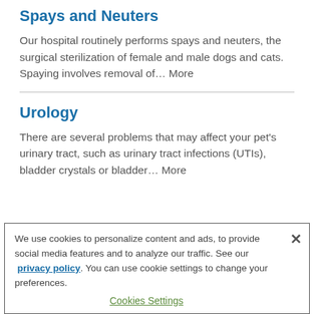Spays and Neuters
Our hospital routinely performs spays and neuters, the surgical sterilization of female and male dogs and cats. Spaying involves removal of… More
Urology
There are several problems that may affect your pet's urinary tract, such as urinary tract infections (UTIs), bladder crystals or bladder… More
We use cookies to personalize content and ads, to provide social media features and to analyze our traffic. See our privacy policy. You can use cookie settings to change your preferences. Cookies Settings